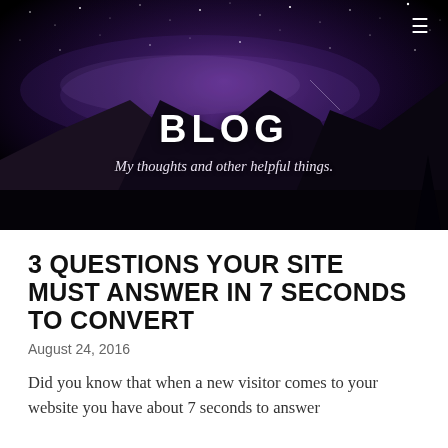[Figure (photo): Night sky / Milky Way over mountain landscape, used as hero banner background]
BLOG
My thoughts and other helpful things.
3 QUESTIONS YOUR SITE MUST ANSWER IN 7 SECONDS TO CONVERT
August 24, 2016
Did you know that when a new visitor comes to your website you have about 7 seconds to answer